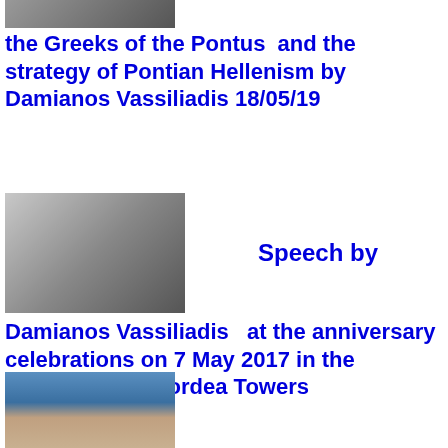[Figure (photo): Partial photo strip at top of page, cropped]
the Greeks of the Pontus  and the strategy of Pontian Hellenism by Damianos Vassiliadis 18/05/19
[Figure (photo): Memorial scene with person standing in front of monument and black-and-white historical photo]
Speech by
Damianos Vassiliadis   at the anniversary celebrations on 7 May 2017 in the martyrdom of Eordea Towers
[Figure (photo): Portrait photo of a man with short hair against blue background, partially cropped at bottom]